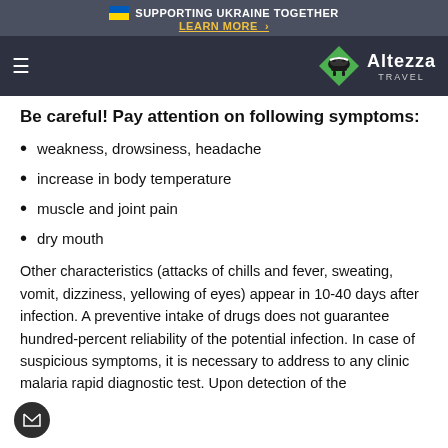🇺🇦 SUPPORTING UKRAINE TOGETHER — LEARN MORE >
[Figure (logo): Altezza Travel logo with honey badger icon on dark navigation bar]
Be careful! Pay attention on following symptoms:
weakness, drowsiness, headache
increase in body temperature
muscle and joint pain
dry mouth
Other characteristics (attacks of chills and fever, sweating, vomit, dizziness, yellowing of eyes) appear in 10-40 days after infection. A preventive intake of drugs does not guarantee hundred-percent reliability of the potential infection. In case of suspicious symptoms, it is necessary to address to any clinic malaria rapid diagnostic test. Upon detection of the